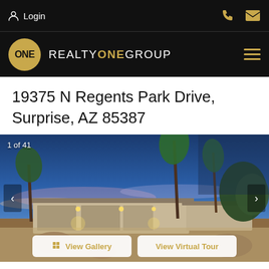Login
[Figure (logo): Realty ONE Group logo - circular gold badge with ONE text, followed by REALTY ONE GROUP text in white/gold]
19375 N Regents Park Drive, Surprise, AZ 85387
[Figure (photo): Exterior photo of a single-story Arizona home at sunset/dusk with palm trees, desert landscaping, tile roof, three-car garage, warm lighting. Counter shows 1 of 41.]
View Gallery  View Virtual Tour